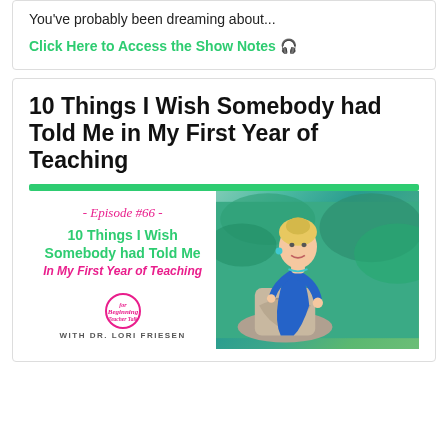You've probably been dreaming about...
Click Here to Access the Show Notes 🎙
10 Things I Wish Somebody had Told Me in My First Year of Teaching
[Figure (illustration): Podcast episode graphic for Beginning Teacher Talk with Dr. Lori Friesen - Episode #66: 10 Things I Wish Somebody had Told Me in My First Year of Teaching. Left side shows episode title text in green and pink on white background with logo. Right side shows a blonde woman in a blue dress leaning on a stone sculpture with tropical greenery in the background.]